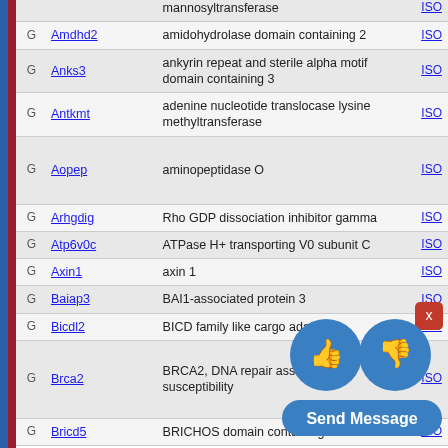|  | Gene | Description | ISO |
| --- | --- | --- | --- |
| G | Amdhd2 | amidohydrolase domain containing 2 | ISO |
| G | Anks3 | ankyrin repeat and sterile alpha motif domain containing 3 | ISO |
| G | Antkmt | adenine nucleotide translocase lysine methyltransferase | ISO |
| G | Aopep | aminopeptidase O | ISO |
| G | Arhgdig | Rho GDP dissociation inhibitor gamma | ISO |
| G | Atp6v0c | ATPase H+ transporting V0 subunit C | ISO |
| G | Axin1 | axin 1 | ISO |
| G | Baiap3 | BAI1-associated protein 3 | ISO |
| G | Bicdl2 | BICD family like cargo adaptor 2 | ISO |
| G | Brca2 | BRCA2, DNA repair associated susceptibility | ISO |
| G | Bricd5 | BRICHOS domain containing 5 | ISO |